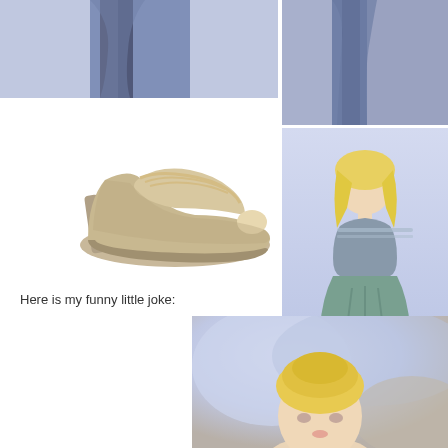[Figure (photo): Close-up photo of teal/blue-gray fabric dress, top portion, cropped at top of page]
[Figure (photo): Close-up photo of teal/blue-gray fabric dress, right side partial view at top]
[Figure (photo): A beige/champagne colored peep-toe high heel stiletto pump shoe on white background]
[Figure (photo): Barbie doll wearing a ruched teal strapless gown with beaded bodice, standing against light background]
Here is my funny little joke:
[Figure (photo): Barbie doll with blonde updo hair, close-up portrait, blurred blue/lavender background]